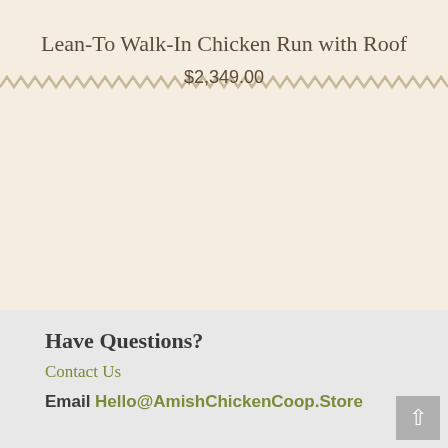Lean-To Walk-In Chicken Run with Roof
$2,349.00
Have Questions?
Contact Us
Email Hello@AmishChickenCoop.Store